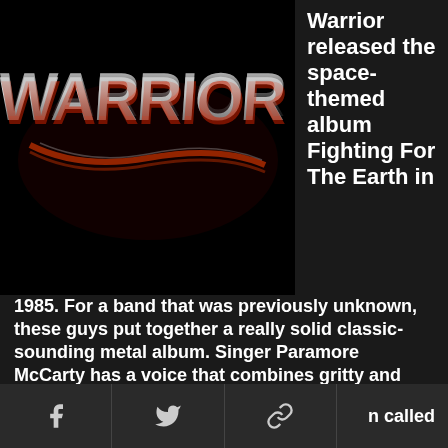[Figure (photo): Warrior band logo in metallic red and chrome on black background]
Warrior released the space-themed album Fighting For The Earth in 1985. For a band that was previously unknown, these guys put together a really solid classic-sounding metal album. Singer Paramore McCarty has a voice that combines gritty and high-pitched screams. Overall, the entire album is well done and shows a maturity that many other bands did not display at the time. McCarty resurfaced as Perry McCarty serving
n called